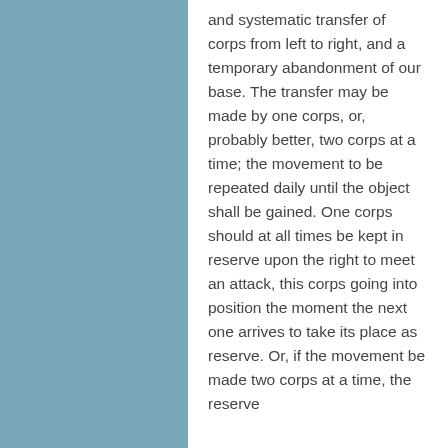and systematic transfer of corps from left to right, and a temporary abandonment of our base. The transfer may be made by one corps, or, probably better, two corps at a time; the movement to be repeated daily until the object shall be gained. One corps should at all times be kept in reserve upon the right to meet an attack, this corps going into position the moment the next one arrives to take its place as reserve. Or, if the movement be made two corps at a time, the reserve